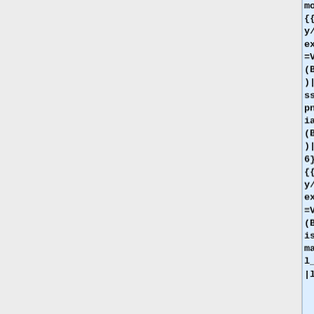mount=16}}
{{Inventory/Slot|index=5|title=Vial (Butadiene)|image=Vessel_vial.png|link=Vial (Butadiene)|amount=16}}
{{Inventory/Slot|index=6|title=Vial (Butylene isomers)|image=Vessel_vial.png|link=Vial